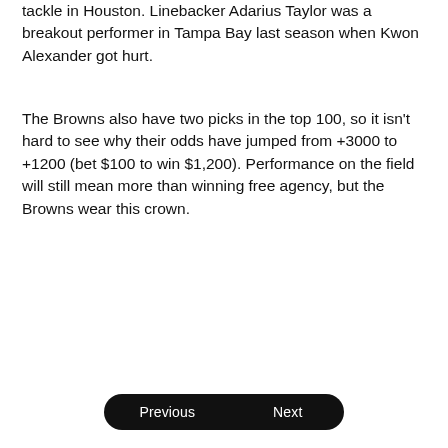tackle in Houston. Linebacker Adarius Taylor was a breakout performer in Tampa Bay last season when Kwon Alexander got hurt.
The Browns also have two picks in the top 100, so it isn't hard to see why their odds have jumped from +3000 to +1200 (bet $100 to win $1,200). Performance on the field will still mean more than winning free agency, but the Browns wear this crown.
Previous | Next